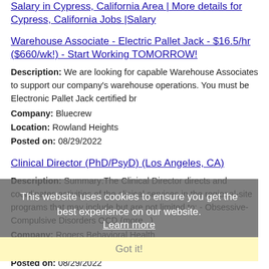Salary in Cypress, California Area | More details for Cypress, California Jobs |Salary
Warehouse Associate - Electric Pallet Jack - $16.5/hr ($660/wk!) - Start Working TOMORROW!
Description: We are looking for capable Warehouse Associates to support our company's warehouse operations. You must be Electronic Pallet Jack certified br
Company: Bluecrew
Location: Rowland Heights
Posted on: 08/29/2022
Clinical Director (PhD/PsyD) (Los Angeles, CA)
Description: Summary:The Clinical Director directs and coordinates activities of the clinical services in the regional-site programs that may include but are not limited to: - Obsessive-Compulsive Disorders OCD (more...)
Company: Rogers Behavioral Health
Location: San Gabriel
Posted on: 08/29/2022
Kitchen Utility Worker - Golden Oaks
Description: Overview: br What's the difference between a job and a meaningful, rewarding career The people you serve. When you